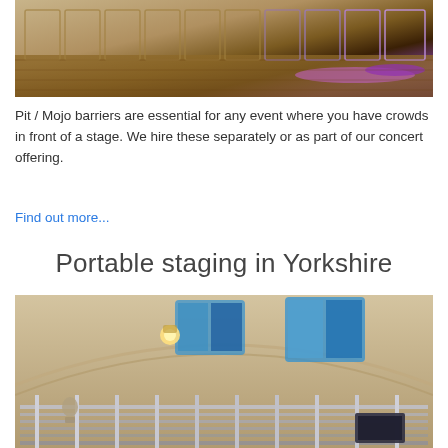[Figure (photo): Photo of pit/mojo barriers on a wooden stage floor with purple/pink lighting effect]
Pit / Mojo barriers are essential for any event where you have crowds in front of a stage. We hire these separately or as part of our concert offering.
Find out more...
Portable staging in Yorkshire
[Figure (photo): Photo of portable staging/scaffolding inside a church or hall with arched ceiling and blue stained glass windows]